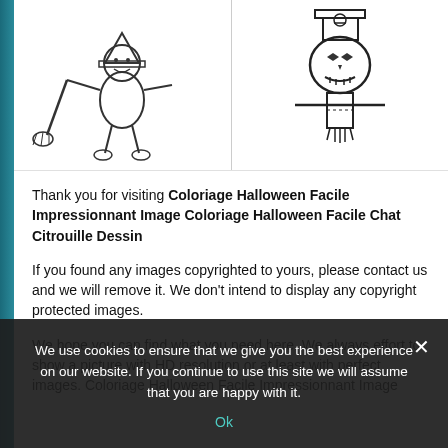[Figure (illustration): Two Halloween coloring page thumbnails side by side: left shows a witch-like figure with a broom, right shows a scarecrow-like jack-o-lantern character]
Thank you for visiting Coloriage Halloween Facile Impressionnant Image Coloriage Halloween Facile Chat Citrouille Dessin
If you found any images copyrighted to yours, please contact us and we will remove it. We don't intend to display any copyright protected images.
We hope you can find what you need here. We always effort to show a picture with HD resolution or at least with perfect images. Coloriage Halloween Facile Impressionnant Image
We use cookies to ensure that we give you the best experience on our website. If you continue to use this site we will assume that you are happy with it.
Ok